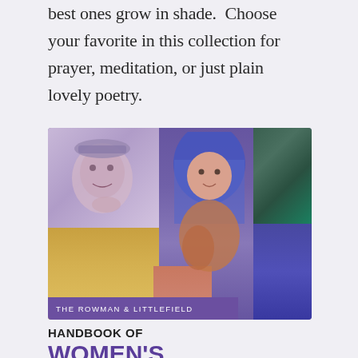best ones grow in shade. Choose your favorite in this collection for prayer, meditation, or just plain lovely poetry.
[Figure (illustration): Book cover collage of illustrated women's faces in various artistic styles, with a purple publisher bar reading 'THE ROWMAN & LITTLEFIELD'. The collage includes stylized portraits with colorful hair and expressive faces.]
HANDBOOK OF WOMEN'S STUDIES IN RELIGION